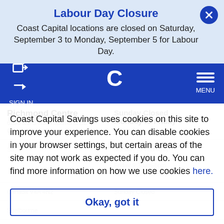Labour Day Closure
Coast Capital locations are closed on Saturday, September 3 to Monday, September 5 for Labour Day.
[Figure (screenshot): Coast Capital Savings website navigation bar with blue background, sign-in icon on left, Coast Capital C logo in center, and hamburger menu on right labeled MENU]
Richmond Centre
Sunday Closed
Monday to Friday
10am-5pm
Coast Capital Savings uses cookies on this site to improve your experience. You can disable cookies in your browser settings, but certain areas of the site may not work as expected if you do. You can find more information on how we use cookies here.
Okay, got it